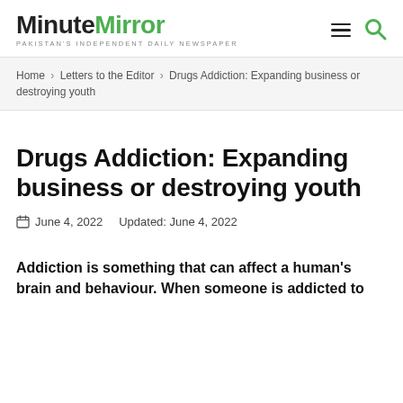MinuteMirror — PAKISTAN'S INDEPENDENT DAILY NEWSPAPER
Home › Letters to the Editor › Drugs Addiction: Expanding business or destroying youth
Drugs Addiction: Expanding business or destroying youth
June 4, 2022   Updated: June 4, 2022
Addiction is something that can affect a human's brain and behaviour. When someone is addicted to